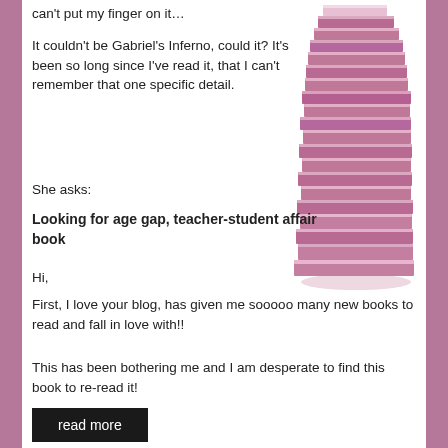can't put my finger on it…
[Figure (photo): A tall stack of pink/mauve books photographed against a white background.]
It couldn't be Gabriel's Inferno, could it? It's been so long since I've read it, that I can't remember that one specific detail.
She asks:
Looking for age gap, teacher-student affair book
Hi,
First, I love your blog, has given me sooooo many new books to read and fall in love with!!
This has been bothering me and I am desperate to find this book to re-read it!
read more